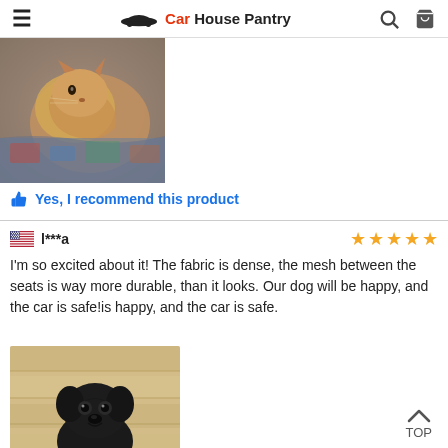Car House Pantry
[Figure (photo): Photo of a cat or small animal with reddish-brown fur, partially visible, appears to be in a carrier or seat]
Yes, I recommend this product
l***a
I'm so excited about it! The fabric is dense, the mesh between the seats is way more durable, than it looks. Our dog will be happy, and the car is safe!is happy, and the car is safe.
[Figure (photo): Photo of a black Labrador puppy sitting on a light wood floor, looking up at the camera]
TOP